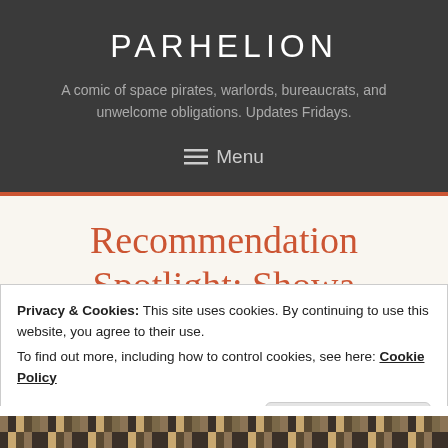PARHELION
A comic of space pirates, warlords, bureaucrats, and unwelcome obligations. Updates Fridays.
≡ Menu
Recommendation Spotlight: Showa
Privacy & Cookies: This site uses cookies. By continuing to use this website, you agree to their use.
To find out more, including how to control cookies, see here: Cookie Policy
Close and accept
[Figure (illustration): Decorative patterned strip at the bottom of the page with woven/textile-like design in browns and tans]